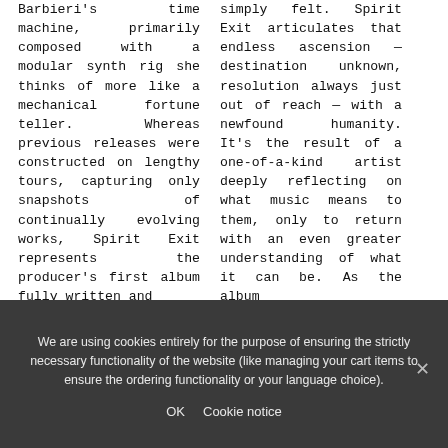Barbieri's time machine, primarily composed with a modular synth rig she thinks of more like a mechanical fortune teller. Whereas previous releases were constructed on lengthy tours, capturing only snapshots of continually evolving works, Spirit Exit represents the producer's first album fully written and
simply felt. Spirit Exit articulates that endless ascension — destination unknown, resolution always just out of reach — with a newfound humanity. It's the result of a one-of-a-kind artist deeply reflecting on what music means to them, only to return with an even greater understanding of what it can be. As the album
We are using cookies entirely for the purpose of ensuring the strictly necessary functionality of the website (like managing your cart items to ensure the ordering functionality or your language choice).